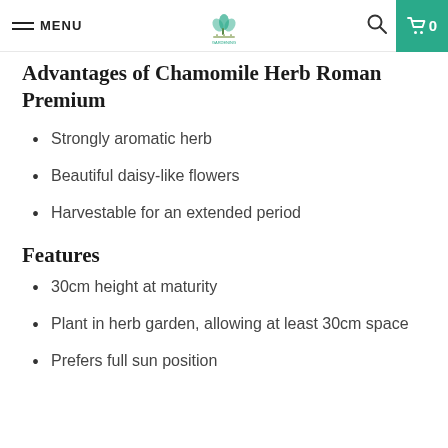MENU | [logo] | [search] | 0
Advantages of Chamomile Herb Roman Premium
Strongly aromatic herb
Beautiful daisy-like flowers
Harvestable for an extended period
Features
30cm height at maturity
Plant in herb garden, allowing at least 30cm space
Prefers full sun position